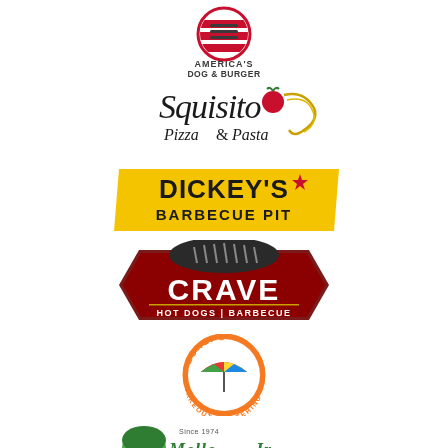[Figure (logo): America's Dog & Burger logo — red circular emblem with stylized hot dog/burger icon, text AMERICA'S DOG & BURGER below in dark letters]
[Figure (logo): Squisito Pizza & Pasta logo — cursive black lettering with a red tomato and pasta illustration]
[Figure (logo): Dickey's Barbecue Pit logo — bold black text on yellow parallelogram background with red star]
[Figure (logo): Crave Hot Dogs | Barbecue logo — dark red badge with CRAVE in large white letters and HOT DOGS | BARBECUE below, with grill illustration on top]
[Figure (logo): Zunzi's Takeout & Catering logo — orange circle with colorful beach umbrella illustration and text around the border]
[Figure (logo): Mellow Mushroom Since 1974 logo — partial view at bottom of page, green mushroom character illustration]